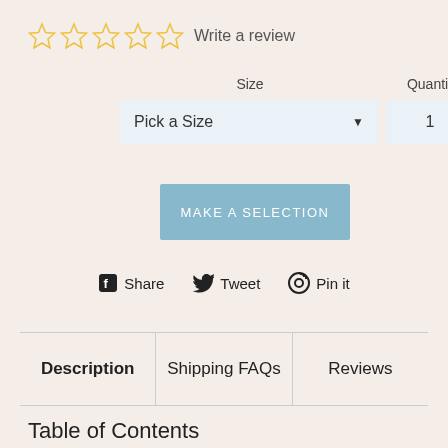☆☆☆☆☆  Write a review
Size
Quantity
Pick a Size
1
MAKE A SELECTION
Share  Tweet  Pin it
| Description | Shipping FAQs | Reviews |
| --- | --- | --- |
Table of Contents